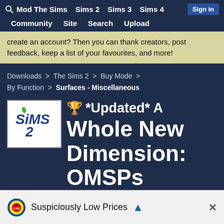Mod The Sims  Sims 2  Sims 3  Sims 4  Sign in
Community  Site  Search  Upload
create an account? Then you can thank creators, post feedback, keep a list of your favourites, and more!
Downloads > The Sims 2 > Buy Mode > By Function > Surfaces - Miscellaneous
🏆 *Updated* A Whole New Dimension: OMSPs Revisited and
Suspiciously Low Prices